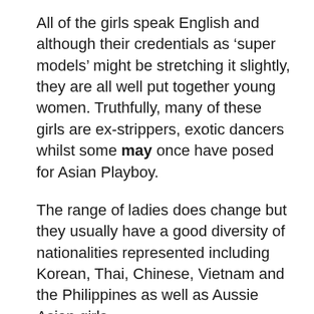All of the girls speak English and although their credentials as ‘super models’ might be stretching it slightly, they are all well put together young women. Truthfully, many of these girls are ex-strippers, exotic dancers whilst some may once have posed for Asian Playboy.
The range of ladies does change but they usually have a good diversity of nationalities represented including Korean, Thai, Chinese, Vietnam and the Philippines as well as Aussie Asian girls.
Miss Asian